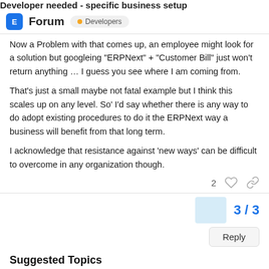Developer needed - specific business setup
Forum • Developers
Now a Problem with that comes up, an employee might look for a solution but googleing “ERPNext” + “Customer Bill” just won’t return anything … I guess you see where I am coming from.
That’s just a small maybe not fatal example but I think this scales up on any level. So’ I’d say whether there is any way to do adopt existing procedures to do it the ERPNext way a business will benefit from that long term.
I acknowledge that resistance against ‘new ways’ can be difficult to overcome in any organization though.
2 ♡ 🔗
3 / 3
Reply
Suggested Topics